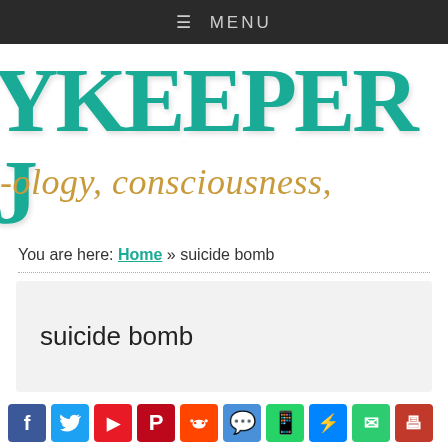≡ MENU
[Figure (logo): Skykeeper Journal logo with teal block letters 'YKEEPER J' and gold cursive text 'ology, consciousness,']
You are here: Home » suicide bomb
suicide bomb
[Figure (infographic): Row of social sharing icons: Facebook, Twitter, Flipboard, Pinterest, Reddit, Chat, WhatsApp, Messenger, Email, Print]